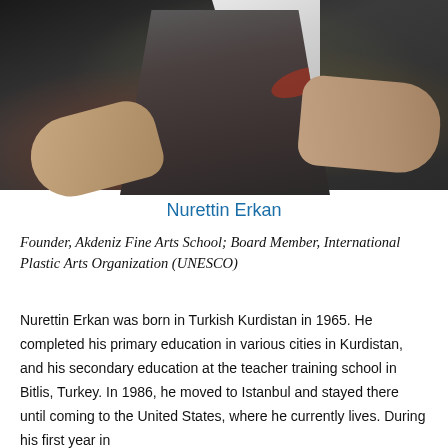[Figure (photo): A person wearing a paint-stained apron and white shirt, appearing to be an artist, shown from the torso area with arms visible. Dark background.]
Nurettin Erkan
Founder, Akdeniz Fine Arts School; Board Member, International Plastic Arts Organization (UNESCO)
Nurettin Erkan was born in Turkish Kurdistan in 1965. He completed his primary education in various cities in Kurdistan, and his secondary education at the teacher training school in Bitlis, Turkey. In 1986, he moved to Istanbul and stayed there until coming to the United States, where he currently lives. During his first year in